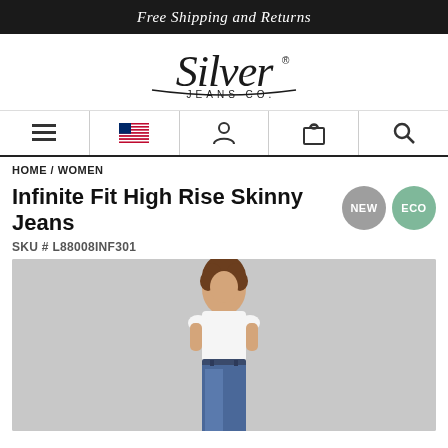Free Shipping and Returns
[Figure (logo): Silver Jeans Co. logo in stylized script]
[Figure (other): Navigation bar with hamburger menu, US flag, account icon, bag icon, search icon]
HOME / WOMEN
Infinite Fit High Rise Skinny Jeans
SKU # L88008INF301
[Figure (photo): Woman with curly hair wearing a white t-shirt and high rise skinny jeans in medium blue wash, standing against a light grey background]